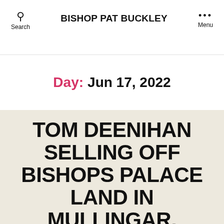BISHOP PAT BUCKLEY
Day: Jun 17, 2022
TOM DEENIHAN SELLING OFF BISHOPS PALACE LAND IN MULLINGAR.
By bishoppat  Jun 17, 2022